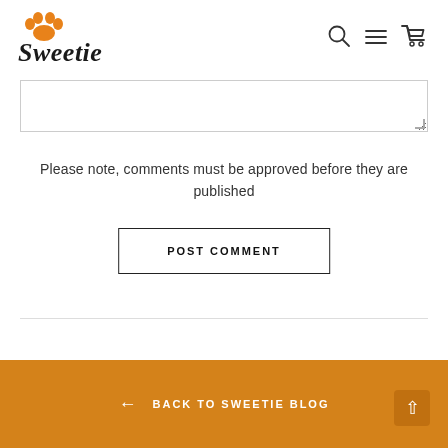[Figure (logo): Sweetie pet brand logo with orange paw print above the stylized italic text 'Sweetie']
[Figure (infographic): Navigation icons: search (magnifying glass), menu (hamburger lines), and shopping cart]
Please note, comments must be approved before they are published
POST COMMENT
← BACK TO SWEETIE BLOG